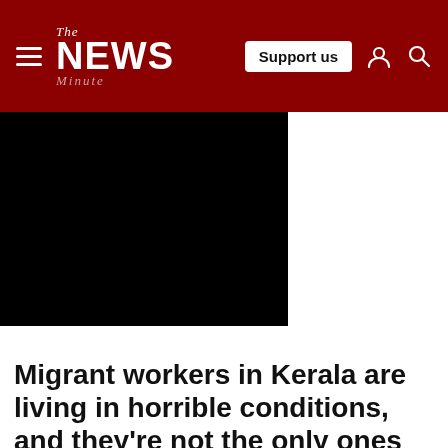The News Minute | Support us
[Figure (photo): Black rectangle representing a photo or video thumbnail of migrant workers]
Migrant workers in Kerala are living in horrible conditions, and they're not the only ones